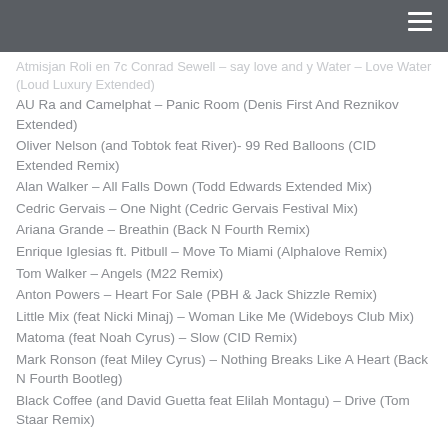Atmisjan Roli en 7c Conrad Sewell – say love and y Water – Love Water (Loud Luxury Extended)
AU Ra and Camelphat – Panic Room (Denis First And Reznikov Extended)
Oliver Nelson (and Tobtok feat River)- 99 Red Balloons (CID Extended Remix)
Alan Walker – All Falls Down (Todd Edwards Extended Mix)
Cedric Gervais – One Night (Cedric Gervais Festival Mix)
Ariana Grande – Breathin (Back N Fourth Remix)
Enrique Iglesias ft. Pitbull – Move To Miami (Alphalove Remix)
Tom Walker – Angels (M22 Remix)
Anton Powers – Heart For Sale (PBH & Jack Shizzle Remix)
Little Mix (feat Nicki Minaj) – Woman Like Me (Wideboys Club Mix)
Matoma (feat Noah Cyrus) – Slow (CID Remix)
Mark Ronson (feat Miley Cyrus) – Nothing Breaks Like A Heart (Back N Fourth Bootleg)
Black Coffee (and David Guetta feat Elilah Montagu) – Drive (Tom Staar Remix)